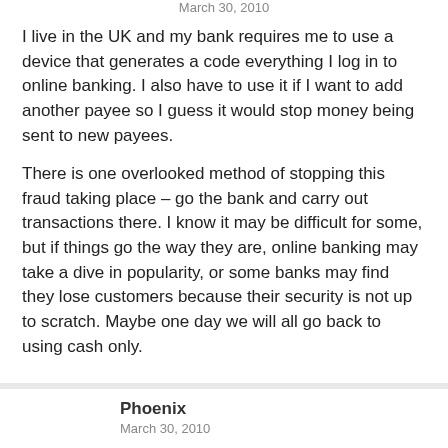March 30, 2010
I live in the UK and my bank requires me to use a device that generates a code everything I log in to online banking. I also have to use it if I want to add another payee so I guess it would stop money being sent to new payees.
There is one overlooked method of stopping this fraud taking place – go the bank and carry out transactions there. I know it may be difficult for some, but if things go the way they are, online banking may take a dive in popularity, or some banks may find they lose customers because their security is not up to scratch. Maybe one day we will all go back to using cash only.
Phoenix
March 30, 2010
If one chooses to use a live CD, he doesn't an OS on the hard drive. That should enhance